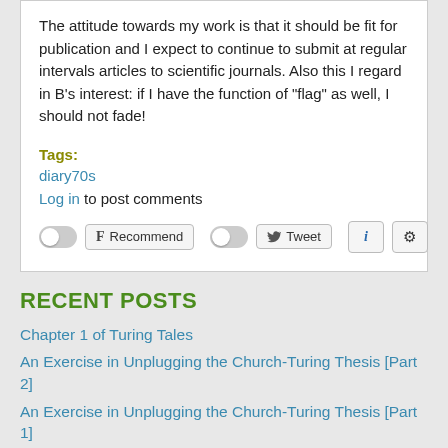The attitude towards my work is that it should be fit for publication and I expect to continue to submit at regular intervals articles to scientific journals. Also this I regard in B's interest: if I have the function of “flag” as well, I should not fade!
Tags:
diary70s
Log in to post comments
[Figure (other): Social sharing buttons: toggle switch, Recommend button (Facebook F icon), toggle switch, Tweet button (Twitter bird icon), info button (i), settings button (gear icon)]
RECENT POSTS
Chapter 1 of Turing Tales
An Exercise in Unplugging the Church-Turing Thesis [Part 2]
An Exercise in Unplugging the Church-Turing Thesis [Part 1]